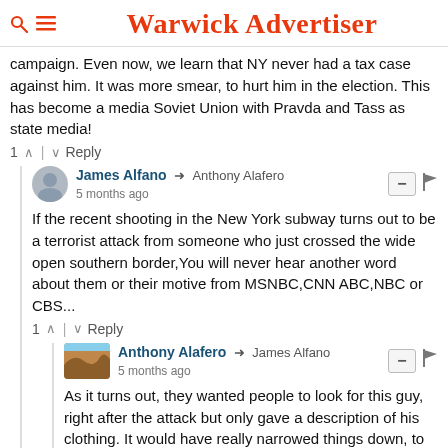Warwick Advertiser
campaign. Even now, we learn that NY never had a tax case against him. It was more smear, to hurt him in the election. This has become a media Soviet Union with Pravda and Tass as state media!
1 ^ | v Reply
James Alfano → Anthony Alafero
5 months ago
If the recent shooting in the New York subway turns out to be a terrorist attack from someone who just crossed the wide open southern border,You will never hear another word about them or their motive from MSNBC,CNN ABC,NBC or CBS...
1 ^ | v Reply
Anthony Alafero → James Alfano
5 months ago
As it turns out, they wanted people to look for this guy, right after the attack but only gave a description of his clothing. It would have really narrowed things down, to point out that he was a male black.